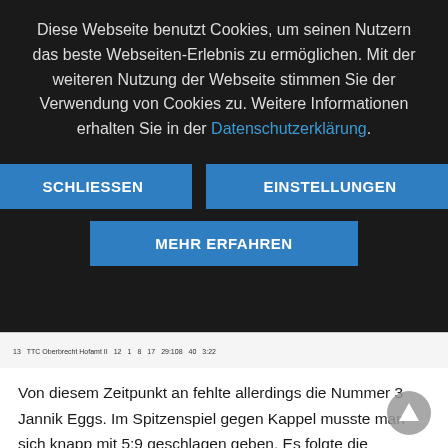Diese Webseite benutzt Cookies, um seinen Nutzern das beste Webseiten-Erlebnis zu ermöglichen. Mit der weiteren Nutzung der Webseite stimmen Sie der Verwendung von Cookies zu. Weitere Informationen erhalten Sie in der Datenschutzerklärung.
SCHLIESSEN
EINSTELLUNGEN
MEHR ERFAHREN
| 13 | TTC Oberbrecht Hofamt II | 12 | 1 | 8 | 17 | 29:108 | 40 | 3:22 |
Von diesem Zeitpunkt an fehlte allerdings die Nummer 3 Jannik Eggs. Im Spitzenspiel gegen Kappel musste man sich knapp mit 5:9 geschlagen geben. Es folgte die unglückliche 7:9 Niederlage in Willstätt und